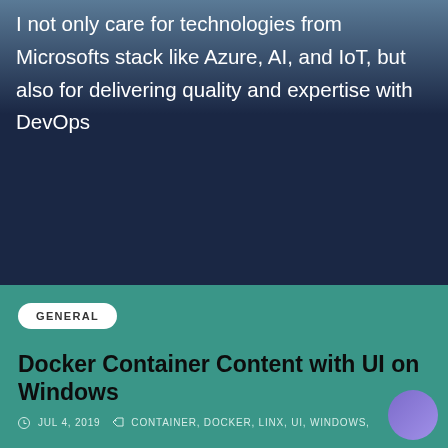I not only care for technologies from Microsofts stack like Azure, AI, and IoT, but also for delivering quality and expertise with DevOps
GENERAL
Docker Container Content with UI on Windows
JUL 4, 2019   CONTAINER, DOCKER, LINX, UI, WINDOWS,